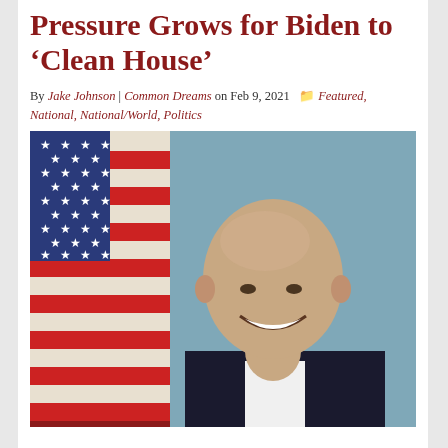Pressure Grows for Biden to 'Clean House'
By Jake Johnson | Common Dreams on Feb 9, 2021  Featured, National, National/World, Politics
[Figure (photo): Official portrait-style photo of a bald, smiling man in a dark suit and white shirt, with an American flag in the background.]